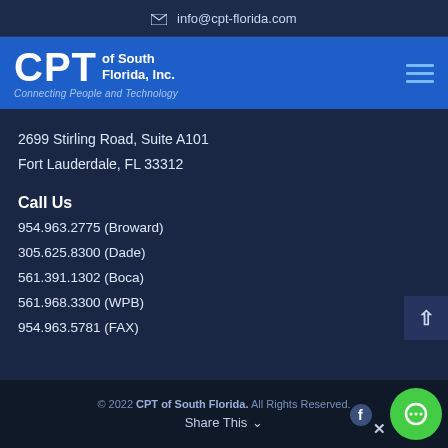✉ info@cpt-florida.com
[Figure (logo): CPT of South Florida, Inc. logo with tagline Connecting People and Technology on blue navigation bar]
2699 Stirling Road, Suite A101
Fort Lauderdale, FL 33312
Call Us
954.963.2775 (Broward)
305.625.8300 (Dade)
561.391.1302 (Boca)
561.968.3300 (WPB)
954.963.5781 (FAX)
© 2022 CPT of South Florida. All Rights Reserved.
Share This